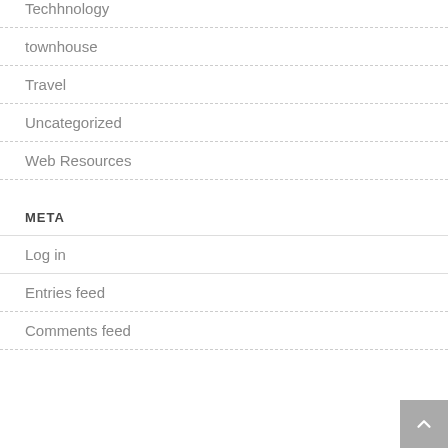Techhnology
townhouse
Travel
Uncategorized
Web Resources
META
Log in
Entries feed
Comments feed